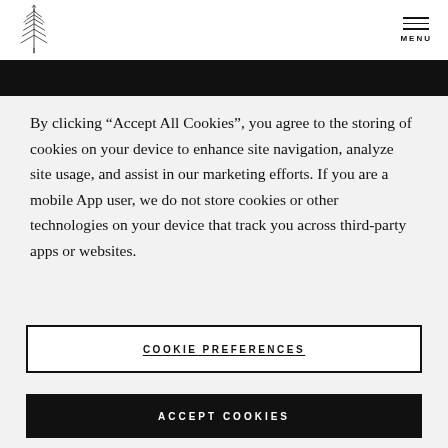Logo and MENU navigation header
By clicking “Accept All Cookies”, you agree to the storing of cookies on your device to enhance site navigation, analyze site usage, and assist in our marketing efforts. If you are a mobile App user, we do not store cookies or other technologies on your device that track you across third-party apps or websites.
COOKIE PREFERENCES
ACCEPT COOKIES